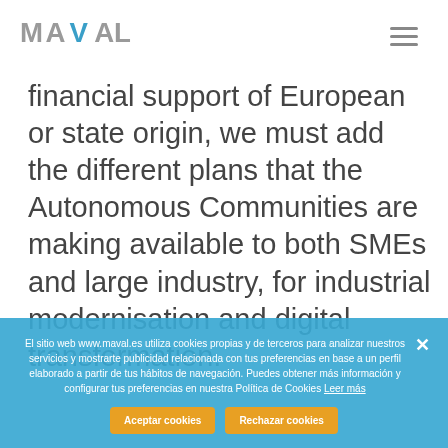[Figure (logo): MAVAL company logo in grey and blue text]
financial support of European or state origin, we must add the different plans that the Autonomous Communities are making available to both SMEs and large industry, for industrial modernisation and digital transformation.
El sitio web www.maval.es utiliza cookies propias y de terceros para analizar nuestros servicios y mostrarte publicidad relacionada con tus preferencias en base a un perfil elaborado a partir de tus hábitos de navegación. Puedes obtener más información y configurar tus preferencias en nuestra Política de Cookies Leer más
Aceptar cookies | Rechazar cookies